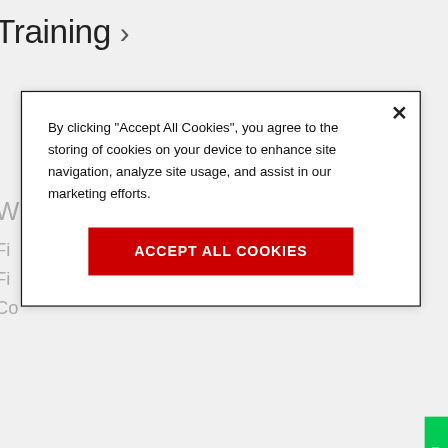Training ›
By clicking "Accept All Cookies", you agree to the storing of cookies on your device to enhance site navigation, analyze site usage, and assist in our marketing efforts.
Accept All Cookies
Your local office ›
Barco, Inc.
6059 Premiere Parkway Suite 400, Duluth, Georgia 30097 United States of America
+1 678 475 8000
Barco, Inc.
11080 White Rock Road, Suite 100, Rancho Cordova CA,